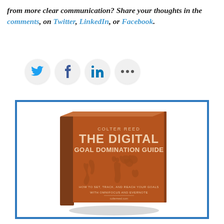from more clear communication? Share your thoughts in the comments, on Twitter, LinkedIn, or Facebook.
[Figure (other): Social media share icons: Twitter (bird), Facebook (f), LinkedIn (in), and more (...) as circular grey buttons]
[Figure (photo): Book cover titled 'The Digital Goal Domination Guide' by Colter Reed, with a brown/orange cover featuring a world map made of text/dots. Subtitle: How to Set, Track, and Reach Your Goals with OmniFocus and Evernote. Shown in a blue-bordered box.]